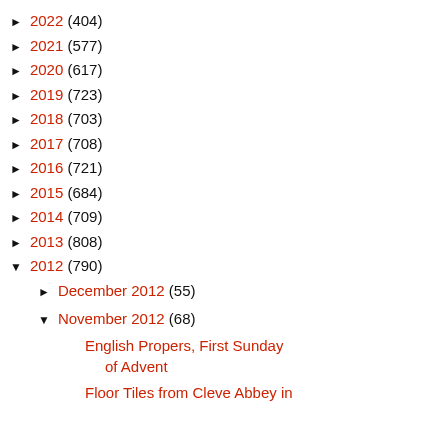► 2022 (404)
► 2021 (577)
► 2020 (617)
► 2019 (723)
► 2018 (703)
► 2017 (708)
► 2016 (721)
► 2015 (684)
► 2014 (709)
► 2013 (808)
▼ 2012 (790)
► December 2012 (55)
▼ November 2012 (68)
English Propers, First Sunday of Advent
Floor Tiles from Cleve Abbey in